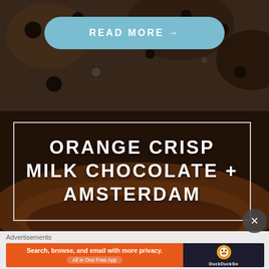[Figure (photo): Top portion of a dark baked goods/cookie background photo with a light blue READ MORE button overlay]
READ MORE →
[Figure (photo): Bottom portion showing dark caramel/chocolate food item with title overlay box reading ORANGE CRISP MILK CHOCOLATE + AMSTERDAM]
ORANGE CRISP MILK CHOCOLATE + AMSTERDAM
Advertisements
[Figure (screenshot): DuckDuckGo advertisement banner: Search, browse, and email with more privacy. All in One Free App. DuckDuckGo logo on right.]